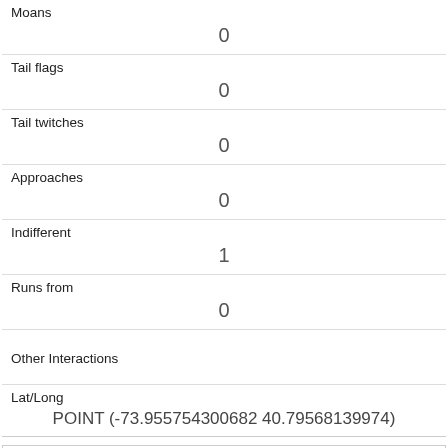| Moans | 0 |
| Tail flags | 0 |
| Tail twitches | 0 |
| Approaches | 0 |
| Indifferent | 1 |
| Runs from | 0 |
| Other Interactions |  |
| Lat/Long | POINT (-73.955754300682 40.79568139974) |
| Link | 1972 |
| rowid | 1972 |